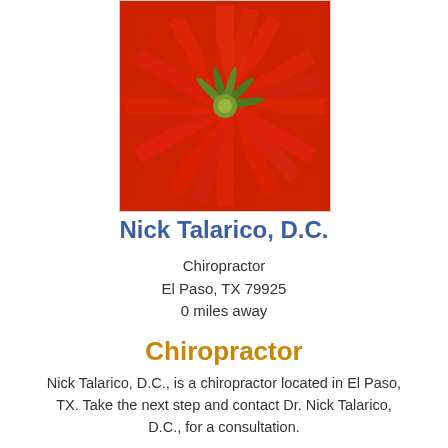[Figure (photo): Close-up photograph of a red flower with green center stamens, vibrant red petals radiating outward]
Nick Talarico, D.C.
Chiropractor
El Paso, TX 79925
0 miles away
Chiropractor
Nick Talarico, D.C., is a chiropractor located in El Paso, TX. Take the next step and contact Dr. Nick Talarico, D.C., for a consultation.
[Figure (screenshot): Two buttons: 'View Profile' and 'Send Message' in blue rounded rectangle style]
[Figure (photo): Partial image at bottom, light blue rectangle, partially visible]